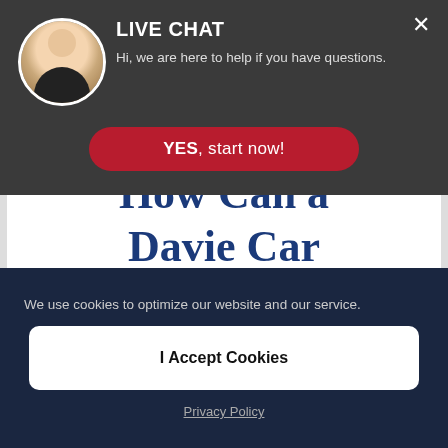LIVE CHAT
Hi, we are here to help if you have questions.
YES, start now!
How Can a Davie Car Accident
We use cookies to optimize our website and our service.
I Accept Cookies
Privacy Policy